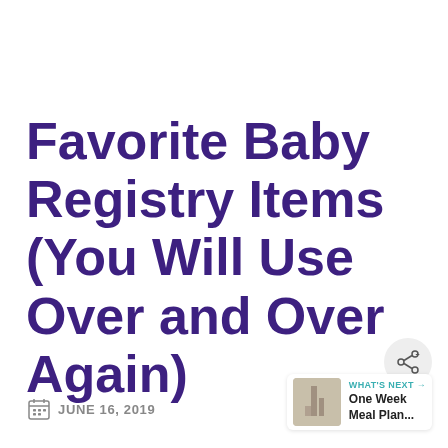Favorite Baby Registry Items (You Will Use Over and Over Again)
JUNE 16, 2019